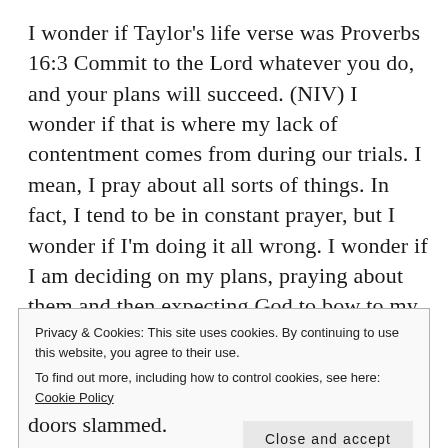I wonder if Taylor's life verse was Proverbs 16:3 Commit to the Lord whatever you do, and your plans will succeed. (NIV) I wonder if that is where my lack of contentment comes from during our trials. I mean, I pray about all sorts of things. In fact, I tend to be in constant prayer, but I wonder if I'm doing it all wrong. I wonder if I am deciding on my plans, praying about them and then expecting God to bow to my wishes. Not that I'm doing this knowingly. I'm not at all. But I've been praying about our living situation for some time.
Privacy & Cookies: This site uses cookies. By continuing to use this website, you agree to their use.
To find out more, including how to control cookies, see here: Cookie Policy
Close and accept
doors slammed.